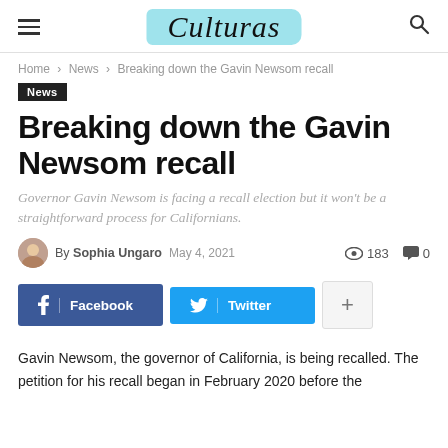Culturas
Home › News › Breaking down the Gavin Newsom recall
News
Breaking down the Gavin Newsom recall
Governor Gavin Newsom is facing a recall election but it won't be a straightforward process for Californians.
By Sophia Ungaro May 4, 2021 · 183 views · 0 comments
Facebook Twitter +
Gavin Newsom, the governor of California, is being recalled. The petition for his recall began in February 2020 before the